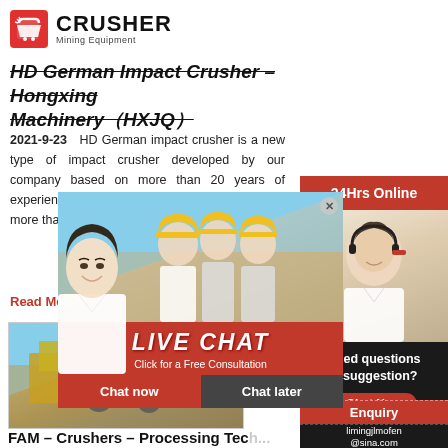[Figure (logo): CRUSHER Mining Equipment logo with red shopping bag icon]
HD German Impact Crusher – Hongxing Machinery(HXJQ)
2021-9-23   HD German impact crusher is a new type of impact crusher developed by our company based on more than 20 years of experience in research, design, manufacturing, more than 200 ki... pebbles, ca... concrete, co...
Read More
[Figure (photo): Industrial crusher machinery equipment outdoors]
FAM – Crushers – Processing Tec...
[Figure (infographic): Live Chat popup overlay with workers in yellow helmets, showing LIVE CHAT text, Click for a Free Consultation, Chat now and Chat later buttons, and a frontwoman customer service representative]
[Figure (infographic): Right sidebar: 24Hrs Online red banner, customer service representative with headset photo, Need questions & suggestion panel with Chat Now button, Enquiry section, limingjlmofen@sina.com email]